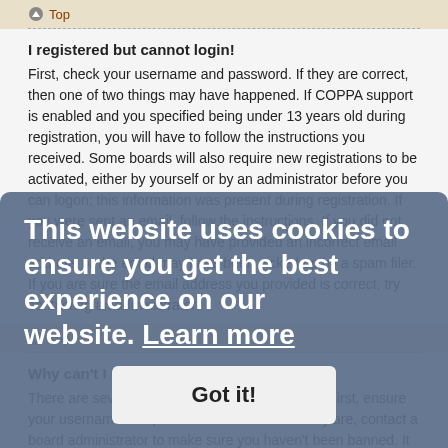Top
I registered but cannot login!
First, check your username and password. If they are correct, then one of two things may have happened. If COPPA support is enabled and you specified being under 13 years old during registration, you will have to follow the instructions you received. Some boards will also require new registrations to be activated, either by yourself or by an administrator before you can logon; this information was present during registration. If you were sent an email, follow the instructions. If you did not receive an email, you may have provided an incorrect email address or the email may have been picked up by a spam filer. If you are sure the email address you provided is correct, try contacting an administrator.
Top
Why can't I login?
There are several reasons why this could occur. First, ensure your username and password are correct. If they are, contact a board administrator to make sure you haven't been banned. It is also possible the website owner has a configuration error on their end, and they would need to fix it.
Top
I registered in the past but cannot login any more?!
This website uses cookies to ensure you get the best experience on our website. Learn more
Got it!